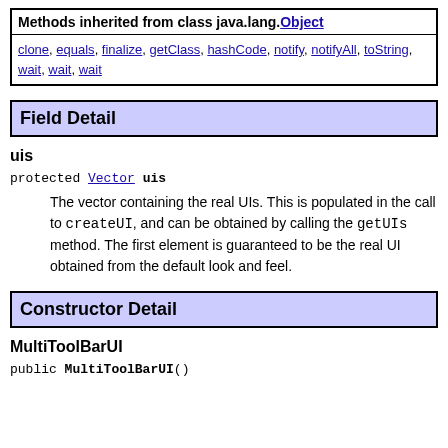| Methods inherited from class java.lang.Object |
| --- |
| clone, equals, finalize, getClass, hashCode, notify, notifyAll, toString, wait, wait, wait |
Field Detail
uis
protected Vector uis
The vector containing the real UIs. This is populated in the call to createUI, and can be obtained by calling the getUIs method. The first element is guaranteed to be the real UI obtained from the default look and feel.
Constructor Detail
MultiToolBarUI
public MultiToolBarUI()